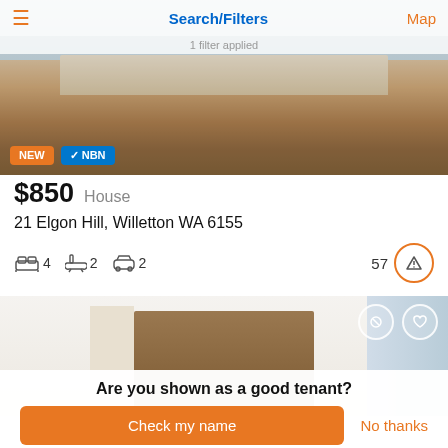Search/Filters
1 filter applied
[Figure (photo): Exterior photo of a brick house with a paved driveway, featuring a NEW badge and NBN badge overlaid on the lower left.]
$850  House
21 Elgon Hill, Willetton WA 6155
4 bedrooms, 2 bathrooms, 2 car spaces. 57 views.
[Figure (photo): Interior photo of a modern room with wooden sliding wardrobe doors and white walls, with dismiss and heart icons overlaid.]
Are you shown as a good tenant?
Check my name
No thanks